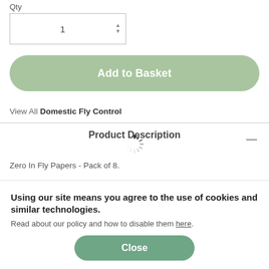Qty
[Figure (other): Quantity input field showing value 1 with up/down spinner arrows]
Add to Basket
View All Domestic Fly Control
Product Description
[Figure (other): Loading spinner animation]
Zero In Fly Papers - Pack of 8.
Using our site means you agree to the use of cookies and similar technologies. Read about our policy and how to disable them here.
Close